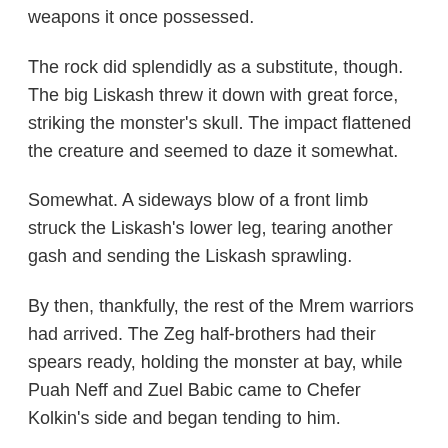weapons it once possessed.
The rock did splendidly as a substitute, though. The big Liskash threw it down with great force, striking the monster's skull. The impact flattened the creature and seemed to daze it somewhat.
Somewhat. A sideways blow of a front limb struck the Liskash's lower leg, tearing another gash and sending the Liskash sprawling.
By then, thankfully, the rest of the Mrem warriors had arrived. The Zeg half-brothers had their spears ready, holding the monster at bay, while Puah Neff and Zuel Babic came to Chefer Kolkin's side and began tending to him.
The monster was coming out of its daze quickly